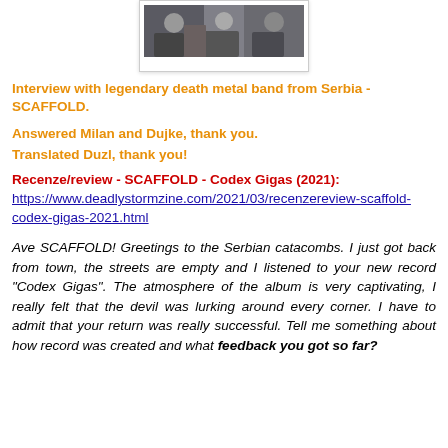[Figure (photo): A partially visible photograph of people (band members), shown at the top of the page in a polaroid-style white-bordered frame.]
Interview with legendary death metal band from Serbia - SCAFFOLD.
Answered Milan and Dujke, thank you.
Translated Duzl, thank you!
Recenze/review - SCAFFOLD - Codex Gigas (2021):
https://www.deadlystormzine.com/2021/03/recenzereview-scaffold-codex-gigas-2021.html
Ave SCAFFOLD! Greetings to the Serbian catacombs. I just got back from town, the streets are empty and I listened to your new record "Codex Gigas". The atmosphere of the album is very captivating, I really felt that the devil was lurking around every corner. I have to admit that your return was really successful. Tell me something about how record was created and what feedback you got so far?